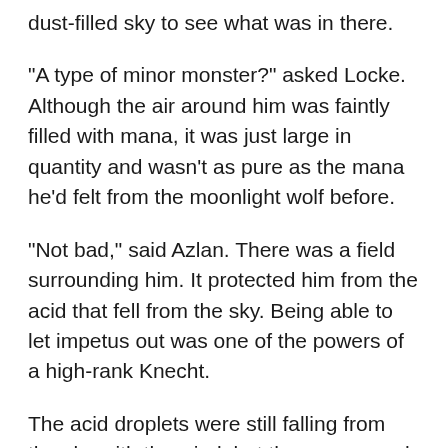dust-filled sky to see what was in there.
"A type of minor monster?" asked Locke. Although the air around him was faintly filled with mana, it was just large in quantity and wasn't as pure as the mana he'd felt from the moonlight wolf before.
"Not bad," said Azlan. There was a field surrounding him. It protected him from the acid that fell from the sky. Being able to let impetus out was one of the powers of a high-rank Knecht.
The acid droplets were still falling from the sky with the wind, but there was much less than